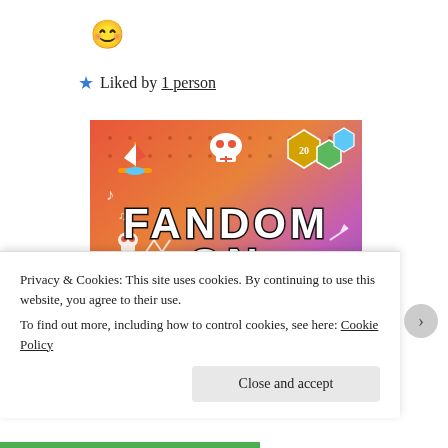[Figure (illustration): Smiling face emoji icon]
★ Liked by 1 person
[Figure (illustration): Colorful gradient image with text 'FANDOM ON tumblr' on an orange-to-purple background with white doodle icons including a sailboat, skull, dice, musical notes, arrows, hearts, and a cartoon leaf character.]
Privacy & Cookies: This site uses cookies. By continuing to use this website, you agree to their use.
To find out more, including how to control cookies, see here: Cookie Policy
Close and accept